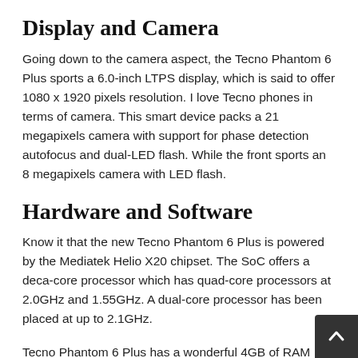Display and Camera
Going down to the camera aspect, the Tecno Phantom 6 Plus sports a 6.0-inch LTPS display, which is said to offer 1080 x 1920 pixels resolution. I love Tecno phones in terms of camera. This smart device packs a 21 megapixels camera with support for phase detection autofocus and dual-LED flash. While the front sports an 8 megapixels camera with LED flash.
Hardware and Software
Know it that the new Tecno Phantom 6 Plus is powered by the Mediatek Helio X20 chipset. The SoC offers a deca-core processor which has quad-core processors at 2.0GHz and 1.55GHz. A dual-core processor has been placed at up to 2.1GHz.
Tecno Phantom 6 Plus has a wonderful 4GB of RAM which makes the phone smarter when you are gaming and streaming movies.  It was revealed that the smart Tecno